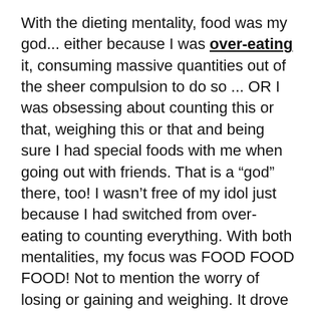With the dieting mentality, food was my god... either because I was over-eating it, consuming massive quantities out of the sheer compulsion to do so ... OR I was obsessing about counting this or that, weighing this or that and being sure I had special foods with me when going out with friends. That is a “god” there, too! I wasn’t free of my idol just because I had switched from over-eating to counting everything. With both mentalities, my focus was FOOD FOOD FOOD! Not to mention the worry of losing or gaining and weighing. It drove me nuts!
When we embrace the freedom to which the Lord calls, we are free to be grateful and thankful with a humble heart and to enjoy any